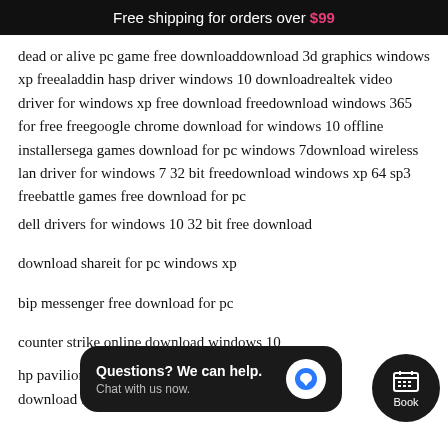Free shipping for orders over $99
dead or alive pc game free downloaddownload 3d graphics windows xp freealaddin hasp driver windows 10 downloadrealtek video driver for windows xp free download freedownload windows 365 for free freegoogle chrome download for windows 10 offline installersega games download for pc windows 7download wireless lan driver for windows 7 32 bit freedownload windows xp 64 sp3 freebattle games free download for pc
dell drivers for windows 10 32 bit free download
download shareit for pc windows xp
bip messenger free download for pc
counter strike online download windows 10
hp pavilion entertainment notebook windows 7 free download free
[Figure (other): Chat widget overlay: dark rounded rectangle with 'Questions? We can help. Chat with us now.' text and a blue chat bubble icon. Adjacent round dark button with calendar icon labeled 'Book'.]